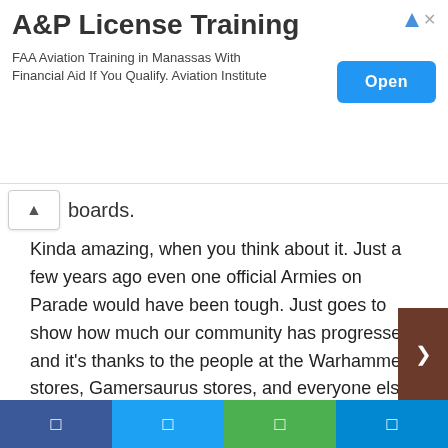[Figure (screenshot): Advertisement banner for A&P License Training. Shows title 'A&P License Training', subtitle 'FAA Aviation Training in Manassas With Financial Aid If You Qualify. Aviation Institute', and a blue 'Open' button on the right. Triangle ad icon and X close button in top right.]
boards.
Kinda amazing, when you think about it. Just a few years ago even one official Armies on Parade would have been tough. Just goes to show how much our community has progressed, and it's thanks to the people at the Warhammer stores, Gamersaurus stores, and everyone else maintaining the community that allow us to have the vibrant group that we have now.
Well, here's to hoping that we'll see many more interesting boards next year!
[Figure (screenshot): Bottom social sharing bar with four colored buttons: blue (Facebook), light blue (Twitter), green (WhatsApp/other), and teal/blue (other sharing option). Brown arrow button on right side.]